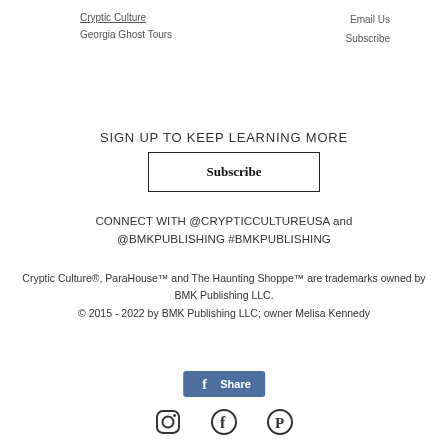Cryptic Culture
Georgia Ghost Tours
Email Us
Subscribe
SIGN UP TO KEEP LEARNING MORE
Subscribe
CONNECT WITH @CRYPTICCULTUREUSA and @BMKPUBLISHING #BMKPUBLISHING
Cryptic Culture®, ParaHouse™ and The Haunting Shoppe™ are trademarks owned by BMK Publishing LLC.
© 2015 - 2022 by BMK Publishing LLC; owner Melisa Kennedy
[Figure (other): Facebook Share button with blue background]
[Figure (other): Social media icons: Instagram, Facebook, Pinterest]